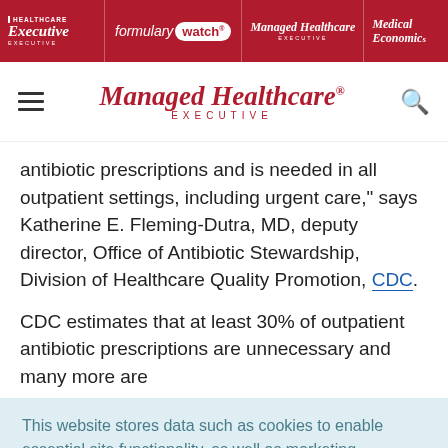Healthcare Executive | formulary watch | Managed Healthcare Executive | Medical Economics
[Figure (logo): Managed Healthcare Executive logo with hamburger menu and search icon]
antibiotic prescriptions and is needed in all outpatient settings, including urgent care," says Katherine E. Fleming-Dutra, MD, deputy director, Office of Antibiotic Stewardship, Division of Healthcare Quality Promotion, CDC.
CDC estimates that at least 30% of outpatient antibiotic prescriptions are unnecessary and many more are
This website stores data such as cookies to enable essential site functionality, as well as marketing, personalization, and analytics. Cookie Policy
Accept
Deny